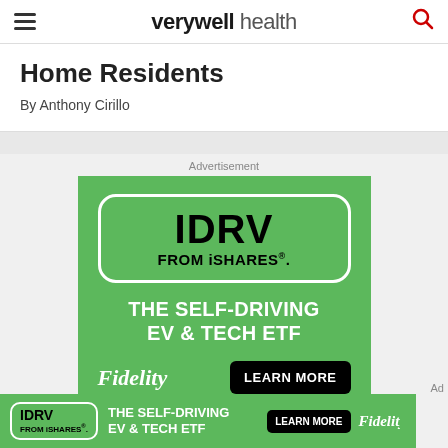verywell health
Home Residents
By Anthony Cirillo
Advertisement
[Figure (infographic): Fidelity advertisement for IDRV FROM iSHARES ETF. Green background with white-bordered rounded rectangle containing 'IDRV FROM iSHARES.' in bold black text. Below: 'THE SELF-DRIVING EV & TECH ETF' in white bold text. Bottom row: Fidelity logo in white italic and 'LEARN MORE' black button. Disclaimer text at bottom.]
[Figure (infographic): Bottom banner Fidelity advertisement for IDRV FROM iSHARES ETF. Green background, compact horizontal layout with logo box, tagline 'THE SELF-DRIVING EV & TECH ETF', LEARN MORE button, and Fidelity logo.]